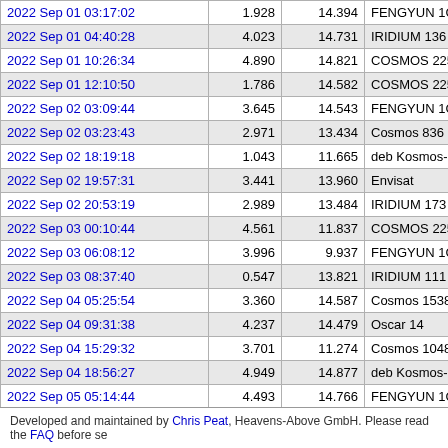| Date/Time | Mag | Altitude | Object | No. |
| --- | --- | --- | --- | --- |
| 2022 Sep 01 03:17:02 | 1.928 | 14.394 | FENGYUN 1C DEB | 33... |
| 2022 Sep 01 04:40:28 | 4.023 | 14.731 | IRIDIUM 136 | 42... |
| 2022 Sep 01 10:26:34 | 4.890 | 14.821 | COSMOS 2251 DEB | 35... |
| 2022 Sep 01 12:10:50 | 1.786 | 14.582 | COSMOS 2251 DEB | 37... |
| 2022 Sep 02 03:09:44 | 3.645 | 14.543 | FENGYUN 1C DEB | 31... |
| 2022 Sep 02 03:23:43 | 2.971 | 13.434 | Cosmos 836 Rocket | 8... |
| 2022 Sep 02 18:19:18 | 1.043 | 11.665 | deb Kosmos-2298 | 23... |
| 2022 Sep 02 19:57:31 | 3.441 | 13.960 | Envisat | 27... |
| 2022 Sep 02 20:53:19 | 2.989 | 13.484 | IRIDIUM 173 | 43... |
| 2022 Sep 03 00:10:44 | 4.561 | 11.837 | COSMOS 2251 DEB | 34... |
| 2022 Sep 03 06:08:12 | 3.996 | 9.937 | FENGYUN 1C DEB | 32... |
| 2022 Sep 03 08:37:40 | 0.547 | 13.821 | IRIDIUM 111 | 41... |
| 2022 Sep 04 05:25:54 | 3.360 | 14.587 | Cosmos 1538 | 14... |
| 2022 Sep 04 09:31:38 | 4.237 | 14.479 | Oscar 14 | 20... |
| 2022 Sep 04 15:29:32 | 3.701 | 11.274 | Cosmos 1048 | 11... |
| 2022 Sep 04 18:56:27 | 4.949 | 14.877 | deb Kosmos-1275 | 13... |
| 2022 Sep 05 05:14:44 | 4.493 | 14.766 | FENGYUN 1C DEB | 36... |
| 2022 Sep 05 15:38:19 | 4.373 | 14.467 | COSMOS 1867 COOLANT | 43... |
| 2022 Sep 05 18:17:20 | 4.463 | 10.626 | FENGYUN 1C DEB | 31... |
Developed and maintained by Chris Peat, Heavens-Above GmbH. Please read the FAQ before se